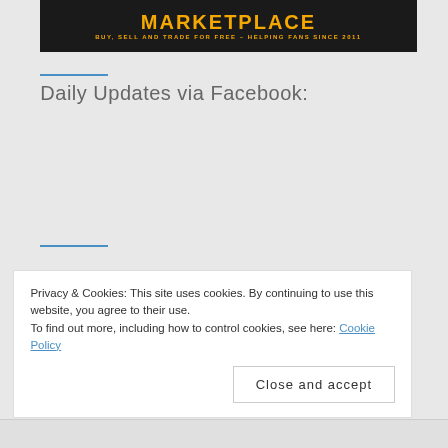[Figure (screenshot): Marketplace banner image with dark background, 'MARKETPLACE' text in white bold letters, subtitle 'BUY, SELL AND TRADE FOR FREE - HELPING FANS SINCE 2011' in orange/yellow]
Daily Updates via Facebook:
Privacy & Cookies: This site uses cookies. By continuing to use this website, you agree to their use.
To find out more, including how to control cookies, see here: Cookie Policy
Close and accept